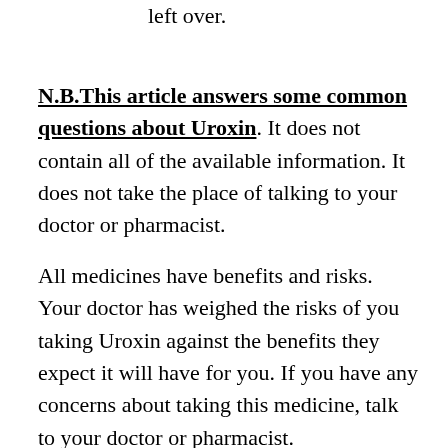left over.
N.B.This article answers some common questions about Uroxin. It does not contain all of the available information. It does not take the place of talking to your doctor or pharmacist.
All medicines have benefits and risks. Your doctor has weighed the risks of you taking Uroxin against the benefits they expect it will have for you. If you have any concerns about taking this medicine, talk to your doctor or pharmacist.